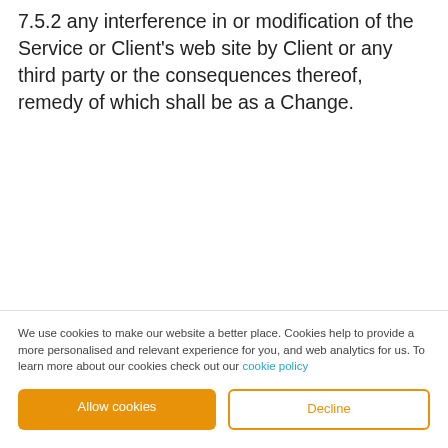7.5.2 any interference in or modification of the Service or Client's web site by Client or any third party or the consequences thereof, remedy of which shall be as a Change.
7.6 Web Presence undertakes to provide the
We use cookies to make our website a better place. Cookies help to provide a more personalised and relevant experience for you, and web analytics for us. To learn more about our cookies check out our cookie policy